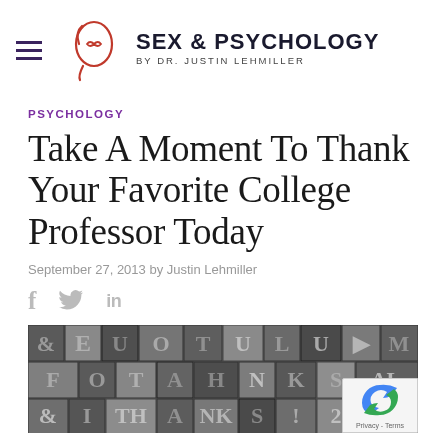SEX & PSYCHOLOGY BY DR. JUSTIN LEHMILLER
PSYCHOLOGY
Take A Moment To Thank Your Favorite College Professor Today
September 27, 2013 by Justin Lehmiller
[Figure (photo): Close-up photo of wooden letterpress blocks with various letters and characters visible]
Privacy - Terms